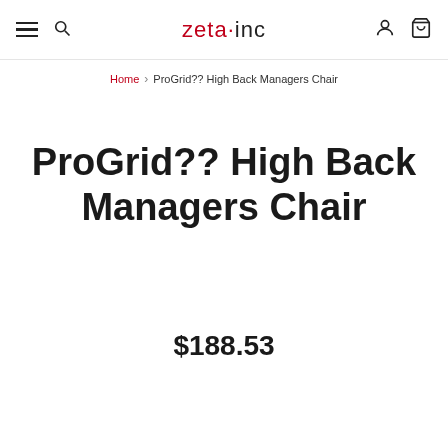zeta·inc — navigation header with menu, search, account, and cart icons
Home > ProGrid?? High Back Managers Chair
ProGrid?? High Back Managers Chair
$188.53